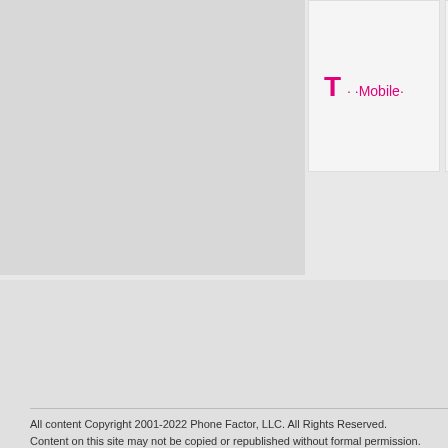[Figure (logo): T-Mobile logo with magenta T and dots]
[Figure (logo): Motorola logo with red M emblem and motorola wordmark]
Subscribe to news & reviews with RSS
Follow @phonescoop on Twitter
Phonescoop on Facebook
All content Copyright 2001-2022 Phone Factor, LLC. All Rights Reserved. Content on this site may not be copied or republished without formal permission.